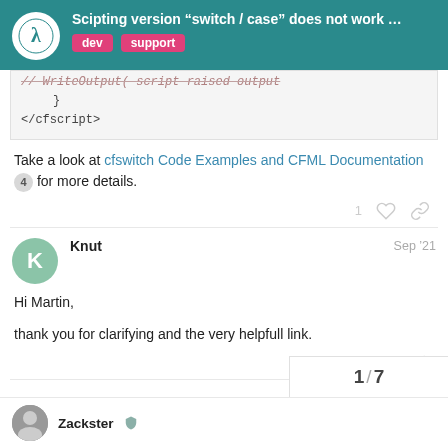Scipting version "switch / case" does not work ... [dev] [support]
[Figure (screenshot): Code block showing closing brace and </cfscript> tag]
Take a look at cfswitch Code Examples and CFML Documentation 4 for more details.
Knut  Sep '21
Hi Martin,
thank you for clarifying and the very helpfull link.
Zackster